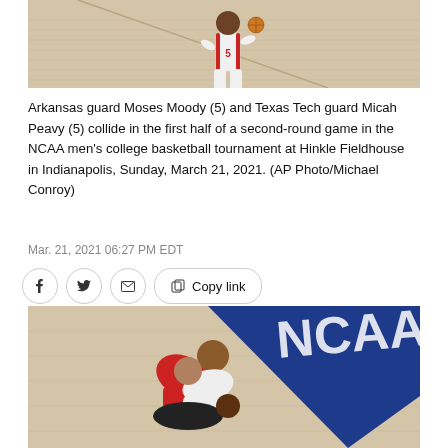[Figure (photo): Basketball player in white Arkansas uniform dribbling on court, shot from above showing wooden floor]
Arkansas guard Moses Moody (5) and Texas Tech guard Micah Peavy (5) collide in the first half of a second-round game in the NCAA men's college basketball tournament at Hinkle Fieldhouse in Indianapolis, Sunday, March 21, 2021. (AP Photo/Michael Conroy)
Mar. 21, 2021 06:27 PM EDT
[Figure (other): Social sharing buttons: Facebook, Twitter, Email, and Copy link]
[Figure (photo): Two basketball players scrambling for a loose ball on court with NCAA tournament blue logo visible on floor]